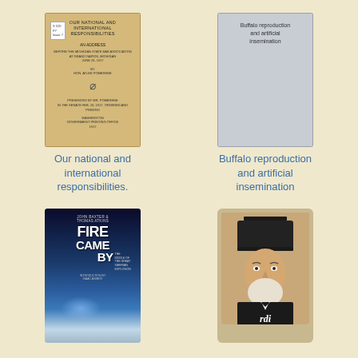[Figure (photo): Book cover: Our national and international responsibilities - an address, aged yellow/tan pamphlet cover]
[Figure (photo): Book cover: Buffalo reproduction and artificial insemination - gray cover with title text]
Our national and international responsibilities.
Buffalo reproduction and artificial insemination
[Figure (photo): Book cover: The Fire Came By - The Riddle of the Great Siberian Explosion by John Baxter & Thomas Atkins, introduction by Isaac Asimov. Dark blue cover with glowing light effect.]
[Figure (photo): Book cover: Portrait of Verdi - older man with top hat, labeled 'rdi' at bottom]